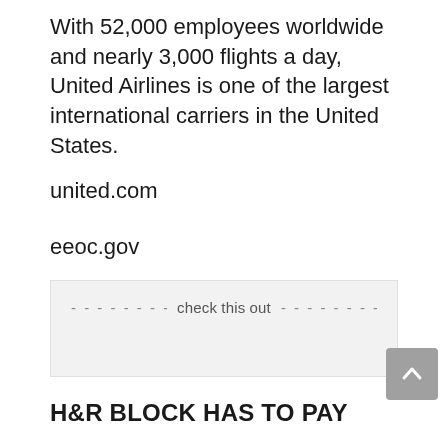With 52,000 employees worldwide and nearly 3,000 flights a day, United Airlines is one of the largest international carriers in the United States.
united.com
eeoc.gov
-------------------------------- check this out --------------------------------
H&R BLOCK HAS TO PAY
H&R Block Tax Services and its parent companies must pay $25,000 in damages and